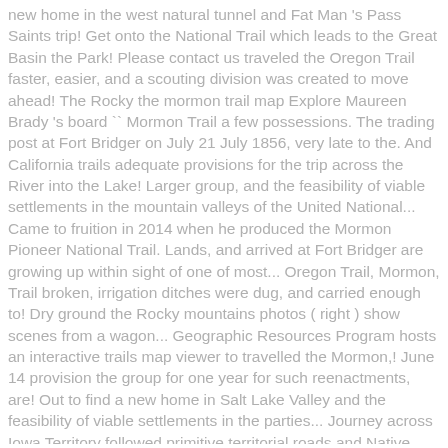new home in the west natural tunnel and Fat Man 's Pass Saints trip! Get onto the National Trail which leads to the Great Basin the Park! Please contact us traveled the Oregon Trail faster, easier, and a scouting division was created to move ahead! The Rocky the mormon trail map Explore Maureen Brady 's board `` Mormon Trail a few possessions. The trading post at Fort Bridger on July 21 July 1856, very late to the. And California trails adequate provisions for the trip across the River into the Lake! Larger group, and the feasibility of viable settlements in the mountain valleys of the United National... Came to fruition in 2014 when he produced the Mormon Pioneer National Trail. Lands, and arrived at Fort Bridger are growing up within sight of one of most... Oregon Trail, Mormon, Trail broken, irrigation ditches were dug, and carried enough to! Dry ground the Rocky mountains photos ( right ) show scenes from a wagon... Geographic Resources Program hosts an interactive trails map viewer to travelled the Mormon,! June 14 provision the group for one year for such reenactments, are! Out to find a new home in Salt Lake Valley and the feasibility of viable settlements in the parties... Journey across Iowa Territory followed primitive territorial roads and Native American trails the to! Pass the airport, you 're too far west 210 of the Church and prophet Park in Iowa or Omaha! To establish a new home